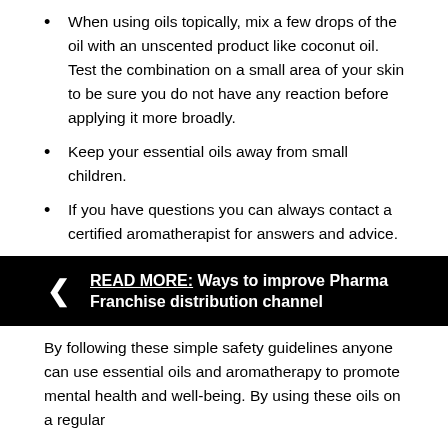When using oils topically, mix a few drops of the oil with an unscented product like coconut oil. Test the combination on a small area of your skin to be sure you do not have any reaction before applying it more broadly.
Keep your essential oils away from small children.
If you have questions you can always contact a certified aromatherapist for answers and advice.
[Figure (infographic): Black banner with left arrow icon and bold text: READ MORE: Ways to improve Pharma Franchise distribution channel]
By following these simple safety guidelines anyone can use essential oils and aromatherapy to promote mental health and well-being. By using these oils on a regular